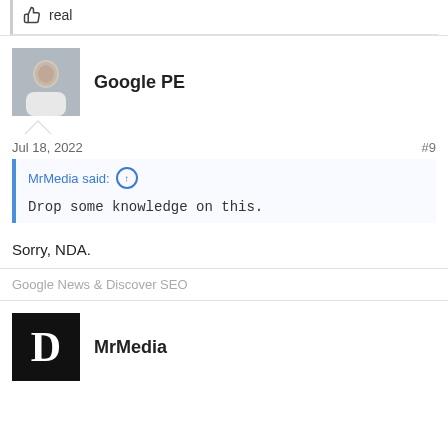👍 real
[Figure (photo): Avatar photo of a person in white clothing]
Google PE
Jul 18, 2022   #9
MrMedia said: ↑
Drop some knowledge on this.
Sorry, NDA.
Google News & Discover SEO
[Figure (logo): Black square with white letter D logo]
MrMedia